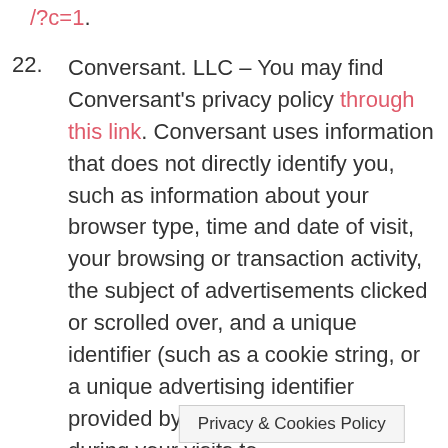/?c=1.
22. Conversant. LLC – You may find Conversant's privacy policy through this link. Conversant uses information that does not directly identify you, such as information about your browser type, time and date of visit, your browsing or transaction activity, the subject of advertisements clicked or scrolled over, and a unique identifier (such as a cookie string, or a unique advertising identifier provided by your mobile device) during your visits to this [site] and
Privacy & Cookies Policy